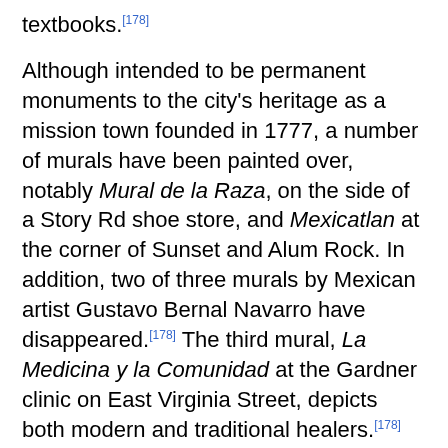textbooks.[178]
Although intended to be permanent monuments to the city's heritage as a mission town founded in 1777, a number of murals have been painted over, notably Mural de la Raza, on the side of a Story Rd shoe store, and Mexicatlan at the corner of Sunset and Alum Rock. In addition, two of three murals by Mexican artist Gustavo Bernal Navarro have disappeared.[178] The third mural, La Medicina y la Comunidad at the Gardner clinic on East Virginia Street, depicts both modern and traditional healers.[178]
Surviving Chicano history murals include Nuestra Senora de Guadelupe at Our Lady of Guadalupe church and the 1970s or 1980s Virgen de Guadelupe Huelga Bird at Cal Foods east of downtown. The Guadalajara restaurant has the 1986 Guadalajara Market No. 2 by